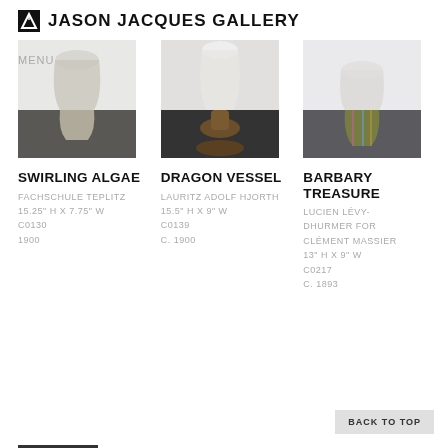JASON JACQUES GALLERY
MENU
[Figure (photo): Ceramic vase with swirling algae glaze, light top portion and dark bottom]
SWIRLING ALGAE
FACHSCHULE TEPLITZ
15.25" H X 7.75" W
C0130
1900
[Figure (photo): Dragon vessel lamp with dark bronze base and white glass shade]
DRAGON VESSEL
LAURITZ ADOLF HJORTH
15.5" H X 9" W
C0139
C. 1900
[Figure (photo): Barbary Treasure vase with colorful iridescent glaze and dark green stripes]
BARBARY TREASURE
LUCIEN LÉVY-DHURMER FOR CLÉMENT MASSIER
13" H X 9" W
C0217
C. 1893
BACK TO TOP